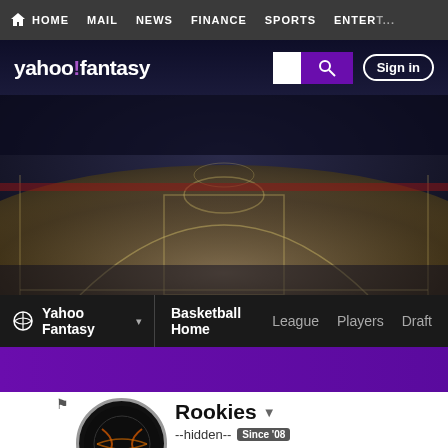HOME  MAIL  NEWS  FINANCE  SPORTS  ENTER...
[Figure (logo): Yahoo Fantasy logo with purple exclamation mark, search box, and Sign in button]
[Figure (photo): Basketball court aerial view with dark moody lighting and basketball court markings visible]
Yahoo Fantasy  Basketball Home  League  Players  Draft
[Figure (other): Purple navigation band]
[Figure (illustration): Team logo: dark circle with orange basketball lines on black background]
Rookies
--hidden--  Since '08
4TH PLACE
127-71-2
LE...
Rating: 6...
Best Fini...
Record: 7...